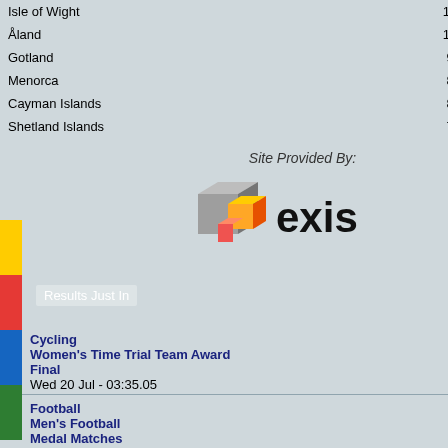| Territory |  |  |  |
| --- | --- | --- | --- |
| Isle of Wight | 17 | 15 | 21 |
| Åland | 14 | 7 | 13 |
| Gotland | 9 | 12 | 21 |
| Menorca | 8 | 8 | 12 |
| Cayman Islands | 8 | 7 | 8 |
| Shetland Islands | 7 | 4 | 4 |
Site Provided By:
[Figure (logo): Exis logo - 3D cube shapes in grey and orange/gold with text 'exis']
Results Just In
Cycling
Women's Time Trial Team Award Final
Wed 20 Jul - 03:35.05
Football
Men's Football Medal Matches
Fri 01 Jul - 06:47.22
Basketball
Women's Basketball Medal Matches
Single FITA Women's Recurve
Single FITA Men's Compound
Single FITA Women's Compound
Men's Recurve Head to Head K
Women's Recurve Head to Head
Men's Compound Head to Head
Women's Compound Head to H
Single FITA Recurve Team
Single FITA Compound Team
Recurve Head to Head Team K
Compound Head to Head Team
Men's 720 Compound
Women's 720 Compound
Men's 720 Recurve
Women's 720 Recurve
PDF Results for Jersey - Archery